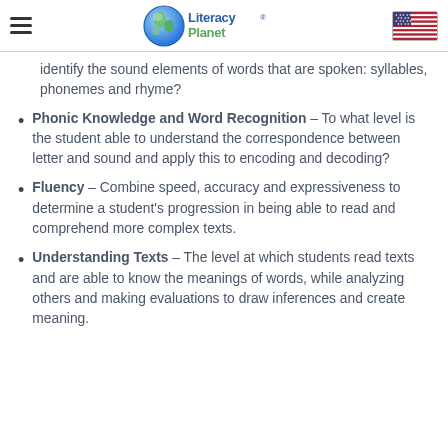LiteracyPlanet
identify the sound elements of words that are spoken: syllables, phonemes and rhyme?
Phonic Knowledge and Word Recognition – To what level is the student able to understand the correspondence between letter and sound and apply this to encoding and decoding?
Fluency – Combine speed, accuracy and expressiveness to determine a student's progression in being able to read and comprehend more complex texts.
Understanding Texts – The level at which students read texts and are able to know the meanings of words, while analyzing others and making evaluations to draw inferences and create meaning.